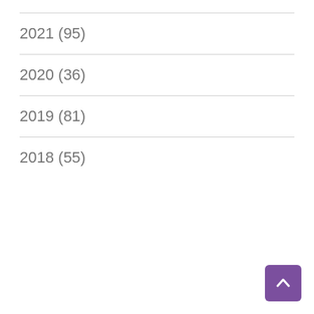2021 (95)
2020 (36)
2019 (81)
2018 (55)
[Figure (other): Back to top button — purple rounded square with upward chevron arrow icon]